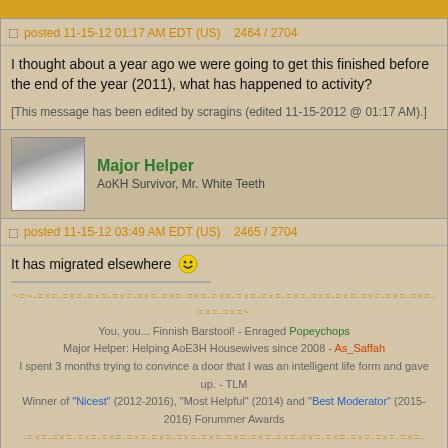[avatar strip top]
posted 11-15-12 01:17 AM EDT (US)    2464 / 2704
I thought about a year ago we were going to get this finished before the end of the year (2011), what has happened to activity?
[This message has been edited by scragins (edited 11-15-2012 @ 01:17 AM).]
Major Helper
AoKH Survivor, Mr. White Teeth
posted 11-15-12 03:49 AM EDT (US)    2465 / 2704
It has migrated elsewhere 😁
You, you... Finnish Barstool! - Enraged Popeychops
Major Helper: Helping AoE3H Housewives since 2008 - As_Saffah
I spent 3 months trying to convince a door that I was an intelligent life form and gave up. - TLM
Winner of "Nicest" (2012-2016), "Most Helpful" (2014) and "Best Moderator" (2015-2016) Forummer Awards
Eurotool
Hero
posted 11-15-12 06:58 AM EDT (US)    2466 / 2704
That's right, I think it migrated to television and chips ! 😁
scragins